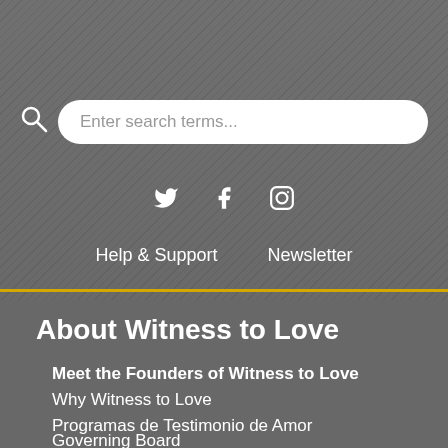[Figure (screenshot): Search bar with magnifying glass icon and placeholder text 'Enter search terms...' on a dark grey diagonal-striped background]
[Figure (infographic): Social media icons: Twitter bird, Facebook f, Instagram camera]
Help & Support    Newsletter
About Witness to Love
Meet the Founders of Witness to Love
Why Witness to Love
Programas de Testimonio de Amor
Governing Board